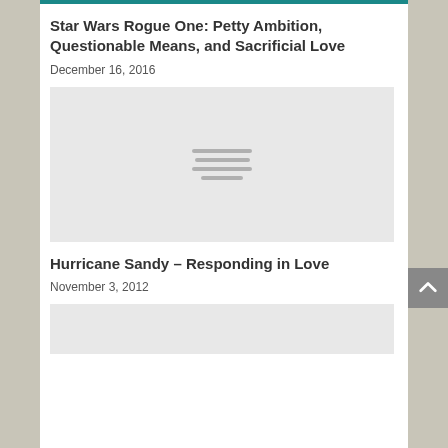[Figure (photo): Top image partially visible, dark teal/cyan colored image cropped at top]
Star Wars Rogue One: Petty Ambition, Questionable Means, and Sacrificial Love
December 16, 2016
[Figure (photo): Gray placeholder image with hamburger/lines icon in center]
Hurricane Sandy – Responding in Love
November 3, 2012
[Figure (photo): Gray placeholder image partially visible at bottom]